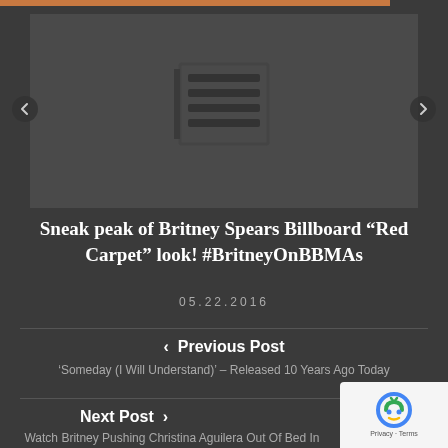[Figure (screenshot): Slider/carousel image area showing a dark background with a list icon in the center]
Sneak peak of Britney Spears Billboard “Red Carpet” look! #BritneyOnBBMAs
05.22.2016
‹  Previous Post
‘Someday (I Will Understand)’ – Released 10 Years Ago Today
Next Post  ›
Watch Britney Pushing Christina Aguilera Out Of Bed In Th... Video!